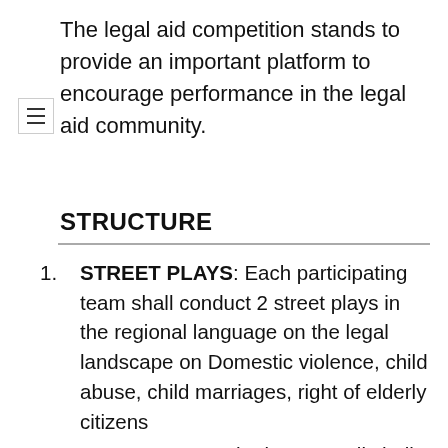The legal aid competition stands to provide an important platform to encourage performance in the legal aid community.
STRUCTURE
STREET PLAYS: Each participating team shall conduct 2 street plays in the regional language on the legal landscape on Domestic violence, child abuse, child marriages, right of elderly citizens
JUN SUNWAII: The jun sunwaii shall be tested on the level of mobilization, crowdsourcing, and level of discussions